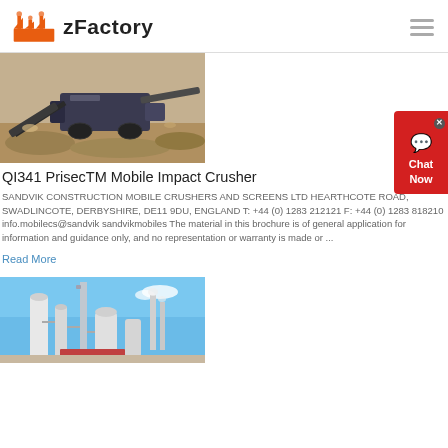zFactory
[Figure (photo): Mobile impact crusher machine working at a quarry/mining site, showing heavy machinery with conveyor belts and rocky terrain]
QI341 PrisecTM Mobile Impact Crusher
SANDVIK CONSTRUCTION MOBILE CRUSHERS AND SCREENS LTD HEARTHCOTE ROAD, SWADLINCOTE, DERBYSHIRE, DE11 9DU, ENGLAND T: +44 (0) 1283 212121 F: +44 (0) 1283 818210 info.mobilecs@sandvik sandvikmobiles The material in this brochure is of general application for information and guidance only, and no representation or warranty is made or ...
Read More
[Figure (photo): Industrial cement or chemical plant with tall towers, silos, and processing equipment against a blue sky]